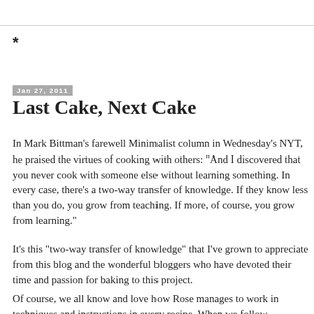*
Jan 27, 2011
Last Cake, Next Cake
In Mark Bittman's farewell Minimalist column in Wednesday's NYT, he praised the virtues of cooking with others: "And I discovered that you never cook with someone else without learning something. In every case, there's a two-way transfer of knowledge. If they know less than you do, you grow from teaching. If more, of course, you grow from learning."
It's this "two-way transfer of knowledge" that I've grown to appreciate from this blog and the wonderful bloggers who have devoted their time and passion for baking to this project.
Of course, we all know and love how Rose manages to work in techniques and instructions in every recipe. When we follow